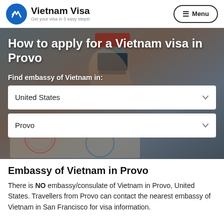Vietnam Visa — Get your visa in 3 easy steps!
[Figure (photo): Hero banner showing hands stamping a passport with visa stamps, with UI overlay showing title, country dropdown (United States), and city dropdown (Provo)]
How to apply for a Vietnam visa in Provo
Find embassy of Vietnam in:
Embassy of Vietnam in Provo
There is NO embassy/consulate of Vietnam in Provo, United States. Travellers from Provo can contact the nearest embassy of Vietnam in San Francisco for visa information.